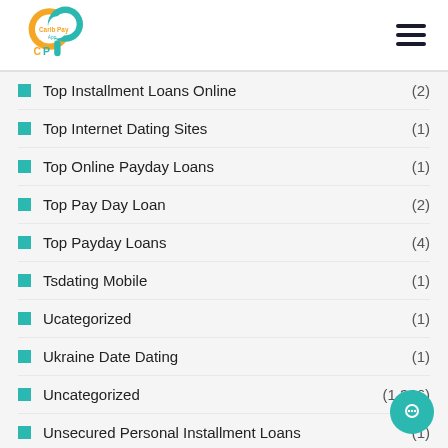Carib Pay App
Top Installment Loans Online (2)
Top Internet Dating Sites (1)
Top Online Payday Loans (1)
Top Pay Day Loan (2)
Top Payday Loans (4)
Tsdating Mobile (1)
Ucategorized (1)
Ukraine Date Dating (1)
Uncategorized (1,366)
Unsecured Personal Installment Loans (1)
Usa Payday Loan (2)